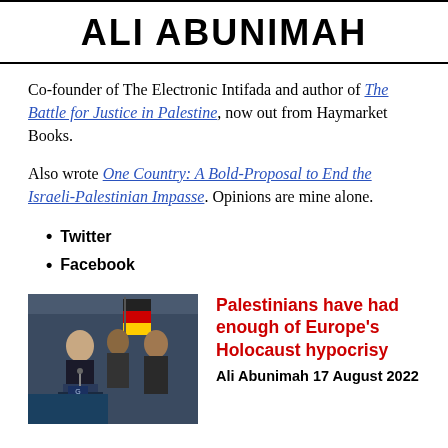ALI ABUNIMAH
Co-founder of The Electronic Intifada and author of The Battle for Justice in Palestine, now out from Haymarket Books.
Also wrote One Country: A Bold-Proposal to End the Israeli-Palestinian Impasse. Opinions are mine alone.
Twitter
Facebook
[Figure (photo): Photo of a person at a podium with a German flag in the background]
Palestinians have had enough of Europe's Holocaust hypocrisy
Ali Abunimah 17 August 2022